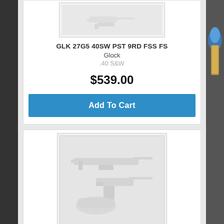GLK 27G5 40SW PST 9RD FSS FS
Glock
.40 S&W
$539.00
Add To Cart
[Figure (photo): Placeholder image showing outline of firearms (rifle, pistol, and holster) in light gray on a gray background]